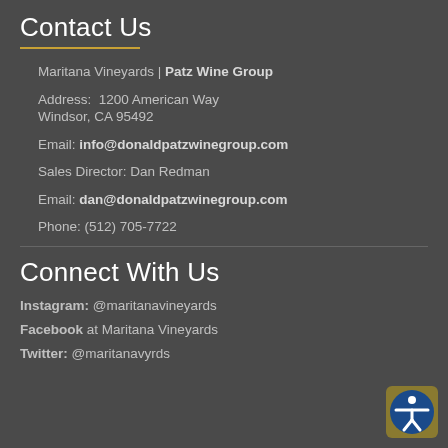Contact Us
Maritana Vineyards | Patz Wine Group
Address:  1200 American Way
Windsor, CA 95492
Email: info@donaldpatzwinegroup.com
Sales Director: Dan Redman
Email: dan@donaldpatzwinegroup.com
Phone: (512) 705-7722
Connect With Us
Instagram: @maritanavineyards
Facebook at Maritana Vineyards
Twitter: @maritanavyrds
[Figure (illustration): Accessibility icon button — blue circle with gold border, white person icon in center]